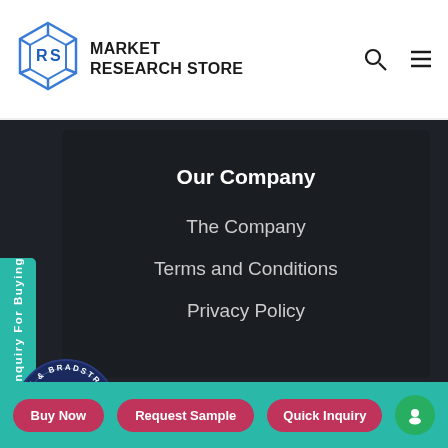[Figure (logo): Market Research Store logo with blue geometric cube icon and bold text MARKET RESEARCH STORE]
Our Company
The Company
Terms and Conditions
Privacy Policy
[Figure (logo): Dun & Bradstreet circular badge logo with ampersand symbol]
s to offer you a better browsing experience, tent and ads, to provide social media features and to analyse our traffic.
Inquiry For Buying
Click Here
Buy Now | Request Sample | Quick Inquiry